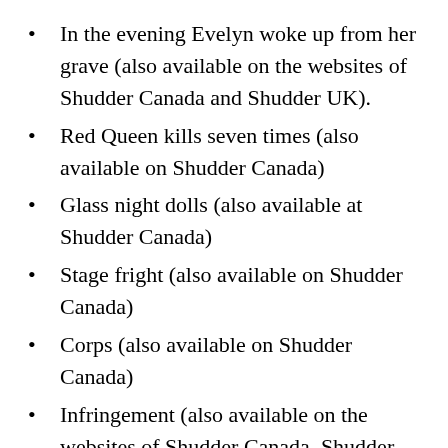In the evening Evelyn woke up from her grave (also available on the websites of Shudder Canada and Shudder UK).
Red Queen kills seven times (also available on Shudder Canada)
Glass night dolls (also available at Shudder Canada)
Stage fright (also available on Shudder Canada)
Corps (also available on Shudder Canada)
Infringement (also available on the websites of Shudder Canada, Shudder UK and Shudder ANZ).
Your truck is limited space (also available